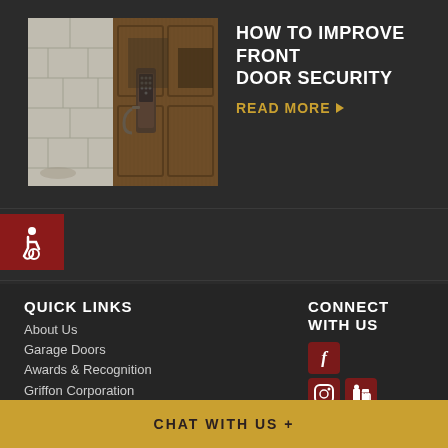[Figure (photo): Photo of a front door with a decorative lock and door handle, showing both a stone/tile wall section and a wooden door]
HOW TO IMPROVE FRONT DOOR SECURITY
READ MORE ▶
[Figure (illustration): Accessibility icon (wheelchair symbol) on a dark red background]
QUICK LINKS
About Us
Garage Doors
Awards & Recognition
Griffon Corporation
Press Room
CONNECT WITH US
[Figure (logo): Facebook icon (f) in dark red square]
[Figure (logo): Instagram and LinkedIn icons in dark red squares]
CHAT WITH US +